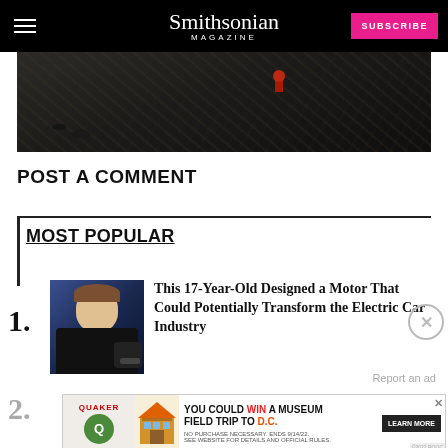Smithsonian Magazine | SUBSCRIBE
[Figure (photo): Dark image of rock wall with a small red figure, likely a climber]
POST A COMMENT
MOST POPULAR
1. This 17-Year-Old Designed a Motor That Could Potentially Transform the Electric Car Industry
2.
[Figure (photo): Thumbnail photo of a young man holding a device]
[Figure (screenshot): Quaker advertisement: YOU COULD WIN A MUSEUM FIELD TRIP TO D.C. - LEARN MORE]
Report an ad